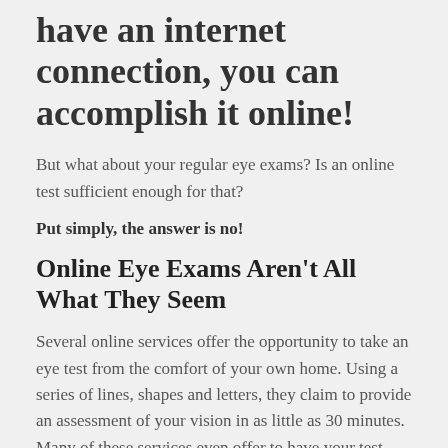have an internet connection, you can accomplish it online!
But what about your regular eye exams? Is an online test sufficient enough for that?
Put simply, the answer is no!
Online Eye Exams Aren't All What They Seem
Several online services offer the opportunity to take an eye test from the comfort of your own home. Using a series of lines, shapes and letters, they claim to provide an assessment of your vision in as little as 30 minutes. Many of these services even offer to have your test results verified by an optometrist who can then issue an eyeglass prescription.
Although online vision tests may seem convenient, they only measure visual acuity and refractive error. Some